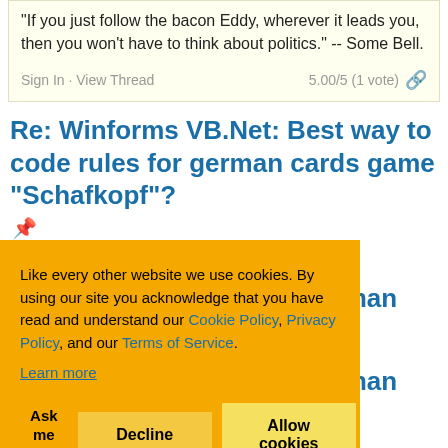"If you just follow the bacon Eddy, wherever it leads you, then you won't have to think about politics." -- Some Bell.
Sign In · View Thread   5.00/5 (1 vote) 🔗
Re: Winforms VB.Net: Best way to code rules for german cards game "Schafkopf"?
Like every other website we use cookies. By using our site you acknowledge that you have read and understand our Cookie Policy, Privacy Policy, and our Terms of Service. Learn more
Ask me later   Decline   Allow cookies
Re: Winforms VB.Net: Best way to code rules for german cards game "Schafkopf"?
Re: Winforms VB.Net: Best way to code rules for german cards game